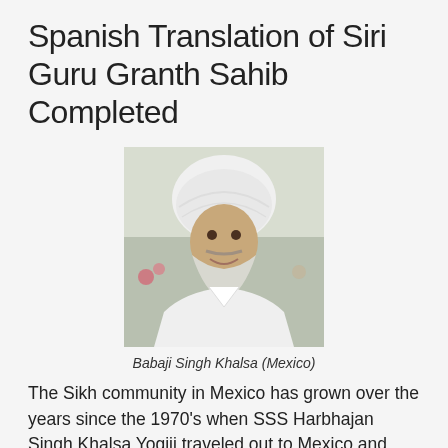Spanish Translation of Siri Guru Granth Sahib Completed
[Figure (photo): Portrait of Babaji Singh Khalsa (Mexico), a man wearing a white turban and white clothing, with a beard, smiling.]
Babaji Singh Khalsa (Mexico)
The Sikh community in Mexico has grown over the years since the 1970's when SSS Harbhajan Singh Khalsa Yogiji traveled out to Mexico and many places around the world. This community of Sikhs primarily speaks Spanish, so the importance of translating things into Spanish was